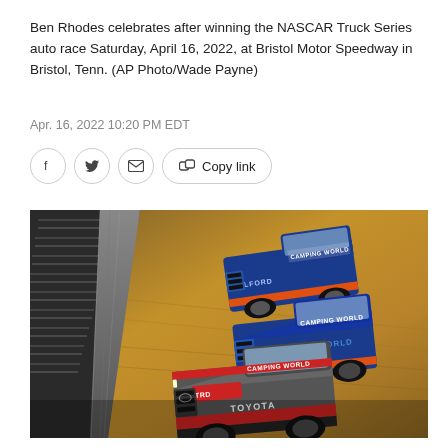Ben Rhodes celebrates after winning the NASCAR Truck Series auto race Saturday, April 16, 2022, at Bristol Motor Speedway in Bristol, Tenn. (AP Photo/Wade Payne)
Apr. 16, 2022 10:20 PM EDT
[Figure (other): Social sharing buttons: Facebook, Twitter, Email, Copy link]
[Figure (photo): NASCAR Camping World Truck Series race at Bristol Motor Speedway on a dirt track. Three trucks racing, with the lead truck being a Toyota (silver/red/black livery with CAMPING WORLD branding), followed by two blue Camping World trucks. A packed grandstand is visible on the left side.]